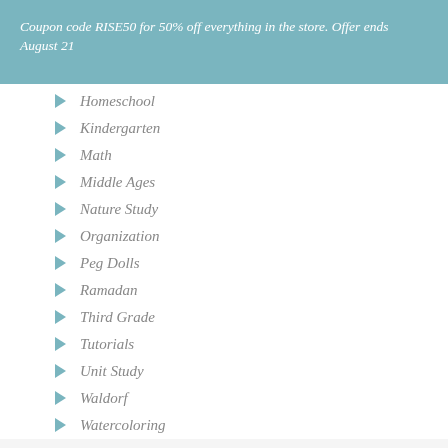Coupon code RISE50 for 50% off everything in the store. Offer ends August 21
Homeschool
Kindergarten
Math
Middle Ages
Nature Study
Organization
Peg Dolls
Ramadan
Third Grade
Tutorials
Unit Study
Waldorf
Watercoloring